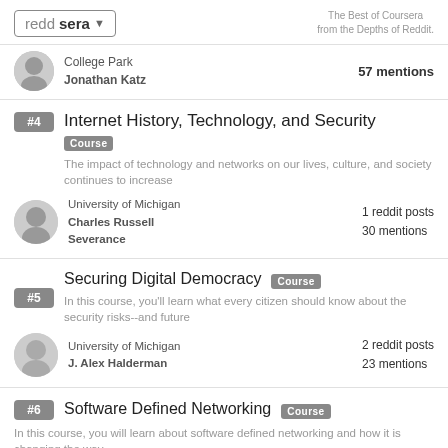reddsera — The Best of Coursera from the Depths of Reddit.
College Park
Jonathan Katz
57 mentions
#4 Internet History, Technology, and Security — Course
The impact of technology and networks on our lives, culture, and society continues to increase
University of Michigan
Charles Russell Severance
1 reddit posts
30 mentions
#5 Securing Digital Democracy — Course
In this course, you'll learn what every citizen should know about the security risks--and future
University of Michigan
J. Alex Halderman
2 reddit posts
23 mentions
#6 Software Defined Networking — Course
In this course, you will learn about software defined networking and how it is changing the way